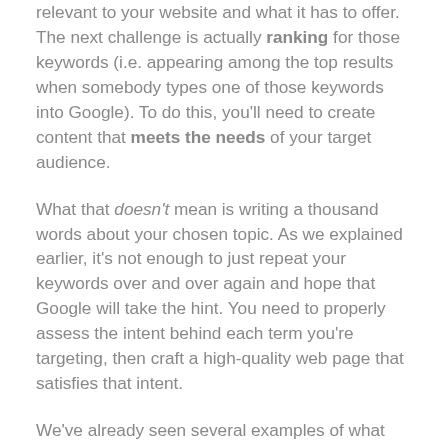relevant to your website and what it has to offer. The next challenge is actually ranking for those keywords (i.e. appearing among the top results when somebody types one of those keywords into Google). To do this, you'll need to create content that meets the needs of your target audience.
What that doesn't mean is writing a thousand words about your chosen topic. As we explained earlier, it's not enough to just repeat your keywords over and over again and hope that Google will take the hint. You need to properly assess the intent behind each term you're targeting, then craft a high-quality web page that satisfies that intent.
We've already seen several examples of what that looks like in practice. You want to be the #1 result for 'best football boots'? You need to research the latest products and write a thorough article that lists the best boots and explains what makes them so great. More interested in showing up for 'cheap football boots'? In that case, you need to make sure you've got a secure, smooth-functioning